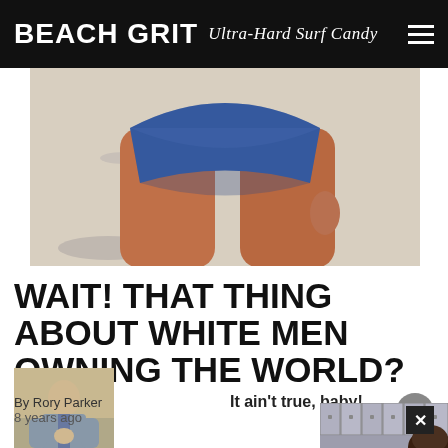BEACH GRIT Ultra-Hard Surf Candy
[Figure (photo): Close-up photo of a person's lower body wearing blue swim briefs/underwear, with tanned legs, standing in what appears to be a locker room area.]
WAIT! THAT THING ABOUT WHITE MEN OWNING THE WORLD?
[Figure (photo): Author avatar photo of a man in a grey suit standing in a gym or locker room.]
It ain't true, baby!
By Rory Parker
8 years ago
[Figure (photo): Partial photo of locker room with metal lockers and a person with an afro hairstyle visible in the bottom right.]